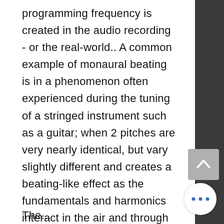programming frequency is created in the audio recording - or the real-world.. A common example of monaural beating is in a phenomenon often experienced during the tuning of a stringed instrument such as a guitar; when 2 pitches are very nearly identical, but vary slightly different and creates a beating-like effect as the fundamentals and harmonics interact in the air and through the mass of the instrument. This is the fundamental operating method of this type of auditory BWE.
The...